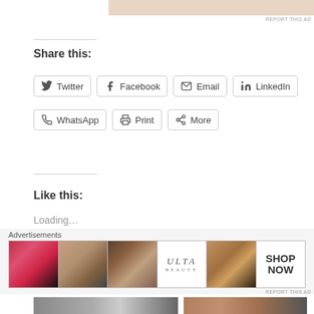[Figure (photo): Partial image at top of page, cropped, showing skin tones]
REPORT THIS AD
Share this:
Twitter
Facebook
Email
LinkedIn
WhatsApp
Print
More
Like this:
Loading…
Related
[Figure (photo): Related article thumbnail images]
Advertisements
[Figure (photo): Ulta Beauty advertisement banner with makeup images and SHOP NOW text]